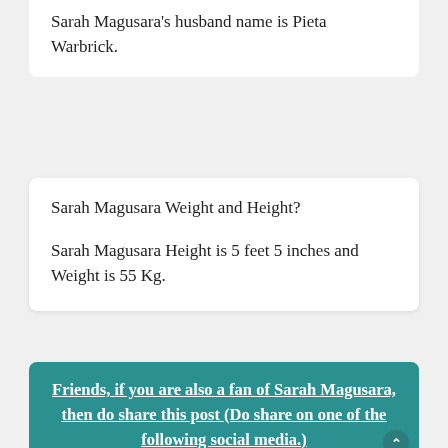Sarah Magusara's husband name is Pieta Warbrick.
Sarah Magusara Weight and Height?
Sarah Magusara Height is 5 feet 5 inches and Weight is 55 Kg.
Friends, if you are also a fan of Sarah Magusara, then do share this post (Do share on one of the following social media.)